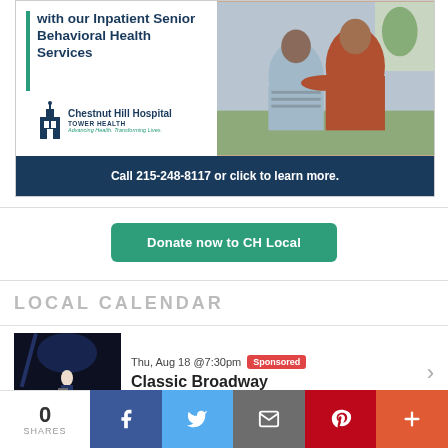[Figure (photo): Chestnut Hill Hospital advertisement featuring two women embracing, with text about Inpatient Senior Behavioral Health Services and a call-to-action phone number.]
Donate now to CH Local
LOCAL CALENDAR
[Figure (photo): Event thumbnail showing a musician performing on stage with orchestra in background.]
Thu, Aug 18 @7:30pm Sponsored
Classic Broadway